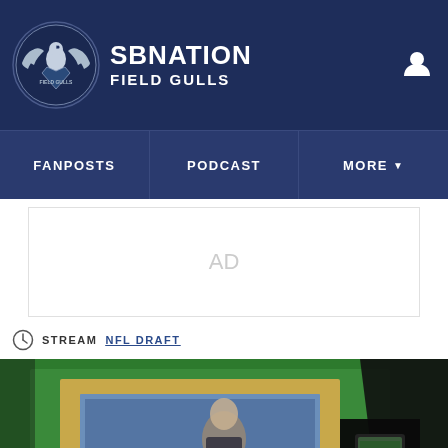SBNation Field Gulls
FANPOSTS | PODCAST | MORE
AD
STREAM NFL DRAFT
[Figure (photo): Photo of a man in a suit standing at a podium at what appears to be the NFL Draft, with a green background. A person in the foreground is holding up a smartphone taking a photo.]